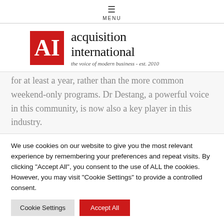≡ MENU
[Figure (logo): Acquisition International logo: red square with white AI letters, beside text 'acquisition international' and tagline 'the voice of modern business - est. 2010']
for at least a year, rather than the more common weekend-only programs. Dr Destang, a powerful voice in this community, is now also a key player in this industry.
We use cookies on our website to give you the most relevant experience by remembering your preferences and repeat visits. By clicking "Accept All", you consent to the use of ALL the cookies. However, you may visit "Cookie Settings" to provide a controlled consent.